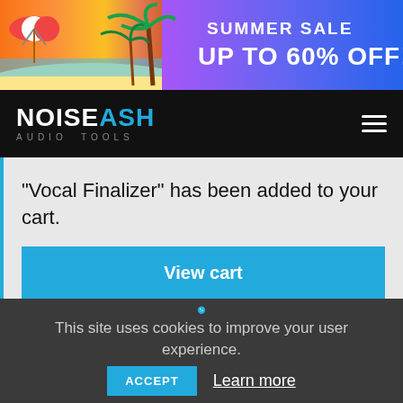[Figure (illustration): Summer Sale banner with beach scene, palm trees, umbrella, and text 'SUMMER SALE UP TO 60% OFF!' on gradient purple/blue background]
NOISEASH AUDIO TOOLS
“Vocal Finalizer” has been added to your cart.
View cart
[Figure (illustration): Cookie icon (blue cookie with dots)]
This site uses cookies to improve your user experience.
ACCEPT
Learn more